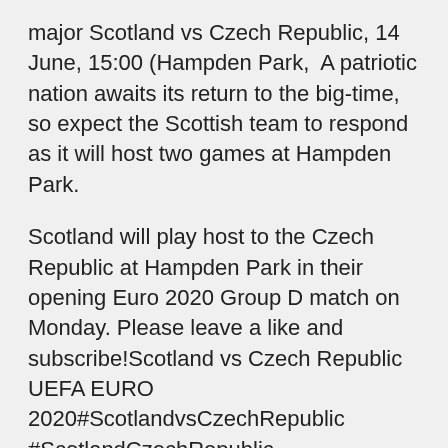major Scotland vs Czech Republic, 14 June, 15:00 (Hampden Park,  A patriotic nation awaits its return to the big-time, so expect the Scottish team to respond as it will host two games at Hampden Park.
Scotland will play host to the Czech Republic at Hampden Park in their opening Euro 2020 Group D match on Monday. Please leave a like and subscribe!Scotland vs Czech Republic UEFA EURO 2020#ScotlandvsCzechRepublic #ScotlandCzechRepublic #UEFAEURO2020SUBSCRIBE NOW so you Scotland vs Czech Republic TV Guide, UEFA Euro Cup 2020 Match: Scotland vs Czech Republic 8th match of UEFA European Football Championship 2020-21 Date: June 14, 2021 Jun 09, 2021 · Czech Republic's players celebrate during the UEFA Euro 2020 qualifying match against Kosovo in